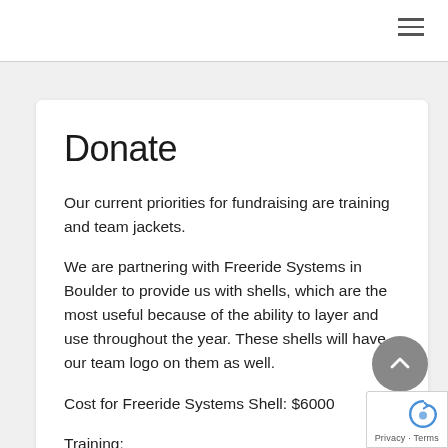Donate
Our current priorities for fundraising are training and team jackets.
We are partnering with Freeride Systems in Boulder to provide us with shells, which are the most useful because of the ability to layer and use throughout the year. These shells will have our team logo on them as well.
Cost for Freeride Systems Shell: $6000
Training: